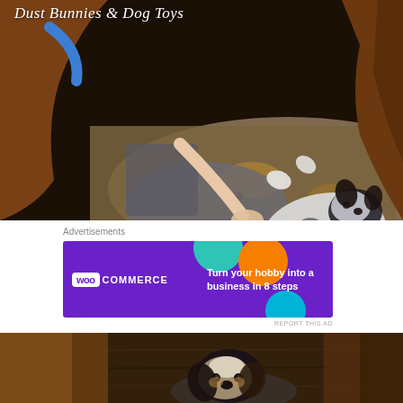[Figure (photo): A small speckled puppy lying on its back on a patterned rug being petted by a person, with a large brown dog in the foreground framing the scene. Blog title overlay reads 'Dust Bunnies & Dog Toys'.]
Advertisements
[Figure (screenshot): WooCommerce advertisement banner with purple background, geometric shapes, and text 'Turn your hobby into a business in 8 steps']
REPORT THIS AD
[Figure (photo): A small black and tan puppy lying on a dark wood floor, looking at the camera.]